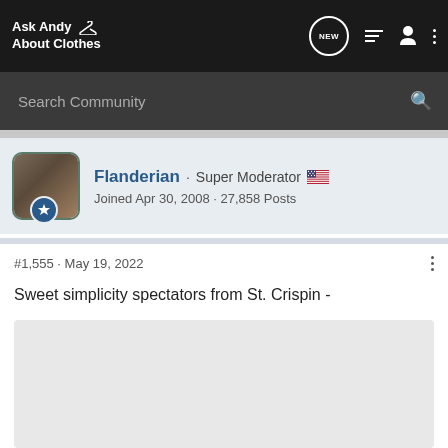Ask Andy About Clothes
Search Community
[Figure (screenshot): User profile card for Flanderian, Super Moderator, Joined Apr 30, 2008, 27,858 Posts]
#1,555 · May 19, 2022
Sweet simplicity spectators from St. Crispin -
[Figure (photo): Image placeholder (loading or content image)]